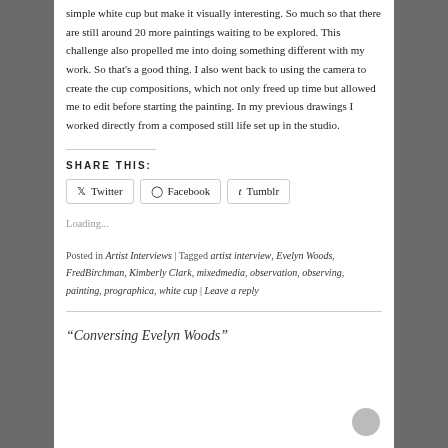simple white cup but make it visually interesting. So much so that there are still around 20 more paintings waiting to be explored. This challenge also propelled me into doing something different with my work. So that's a good thing. I also went back to using the camera to create the cup compositions, which not only freed up time but allowed me to edit before starting the painting. In my previous drawings I worked directly from a composed still life set up in the studio.
SHARE THIS:
Loading...
Posted in Artist Interviews | Tagged artist interview, Evelyn Woods, FredBirchman, Kimberly Clark, mixedmedia, observation, observing, painting, prographica, white cup | Leave a reply
“Conversing Evelyn Woods”